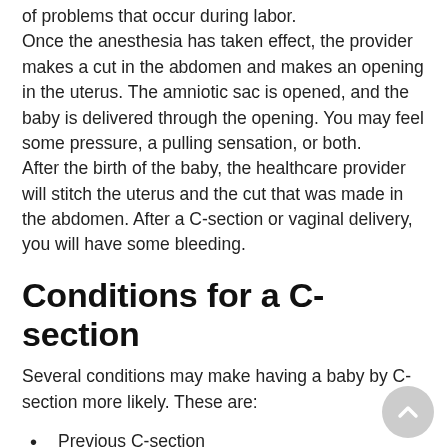of problems that occur during labor. Once the anesthesia has taken effect, the provider makes a cut in the abdomen and makes an opening in the uterus. The amniotic sac is opened, and the baby is delivered through the opening. You may feel some pressure, a pulling sensation, or both. After the birth of the baby, the healthcare provider will stitch the uterus and the cut that was made in the abdomen. After a C-section or vaginal delivery, you will have some bleeding.
Conditions for a C-section
Several conditions may make having a baby by C-section more likely. These are:
Previous C-section
Fetal distress